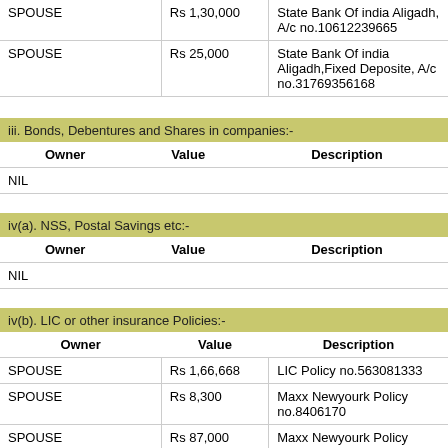| Owner | Value | Description |
| --- | --- | --- |
| SPOUSE | Rs 1,30,000 | State Bank Of india Aligadh, A/c no.10612239665 |
| SPOUSE | Rs 25,000 | State Bank Of india Aligadh,Fixed Deposite, A/c no.31769356168 |
iii. Bonds, Debentures and Shares in companies:-
| Owner | Value | Description |
| --- | --- | --- |
| NIL |  |  |
iv(a). NSS, Postal Savings etc:-
| Owner | Value | Description |
| --- | --- | --- |
| NIL |  |  |
iv(b). LIC or other insurance Policies:-
| Owner | Value | Description |
| --- | --- | --- |
| SPOUSE | Rs 1,66,668 | LIC Policy no.563081333 |
| SPOUSE | Rs 8,300 | Maxx Newyourk Policy no.8406170 |
| SPOUSE | Rs 87,000 | Maxx Newyourk Policy |